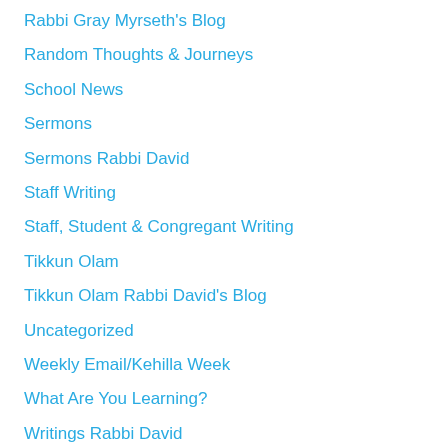Rabbi Gray Myrseth's Blog
Random Thoughts & Journeys
School News
Sermons
Sermons Rabbi David
Staff Writing
Staff, Student & Congregant Writing
Tikkun Olam
Tikkun Olam Rabbi David's Blog
Uncategorized
Weekly Email/Kehilla Week
What Are You Learning?
Writings Rabbi David